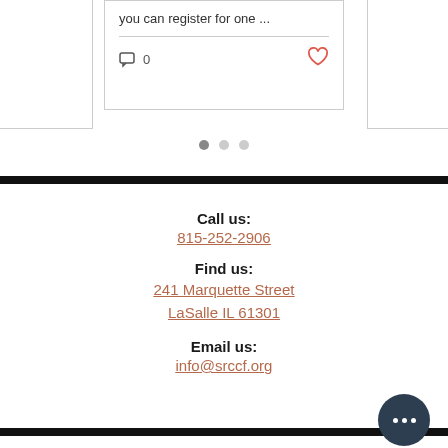you can register for one ...
[Figure (screenshot): Card with comment icon showing 0 comments and a heart icon for likes]
[Figure (infographic): Carousel navigation dots: one filled, two empty]
Call us:
815-252-2906
Find us:
241 Marquette Street
LaSalle IL 61301
Email us:
info@srccf.org